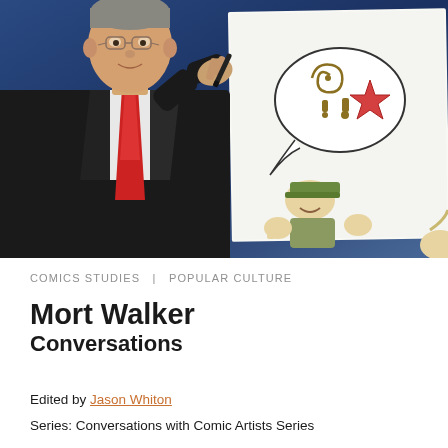[Figure (photo): A man in a dark suit and red tie drawing on a large white board/canvas. On the board are cartoon illustrations including a speech bubble containing a star, swirl, and question mark symbols, and a cartoon character (Beetle Bailey style) below. The background is blue.]
COMICS STUDIES  |  POPULAR CULTURE
Mort Walker
Conversations
Edited by Jason Whiton
Series: Conversations with Comic Artists Series